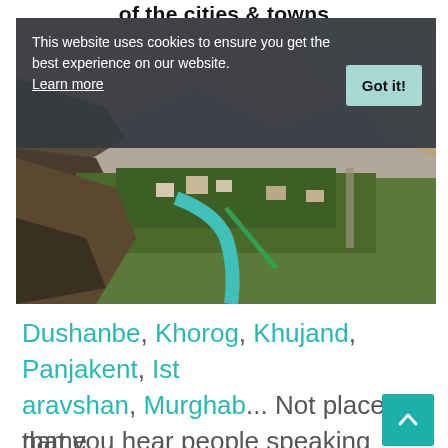of the cities & towns
[Figure (screenshot): Cookie consent banner overlay on top of a landscape photo showing a mountain valley town with a turquoise river running through green trees, with arid mountains in the background. The banner reads: 'This website uses cookies to ensure you get the best experience on our website. Learn more' with a 'Got it!' button.]
Dushanbe, Khorog, Khujand, Panjakent, Istaravshan, Murghab... Not place name that you hear people speaking of too
[Figure (screenshot): Scroll to top button (teal/turquoise background with white upward chevron arrow) in bottom right corner]